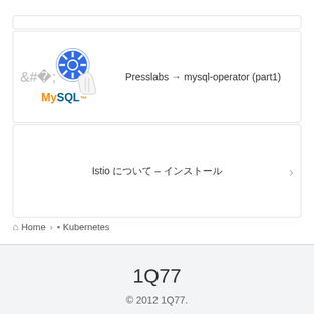[Figure (screenshot): Navigation card with MySQL and Kubernetes logos linking to Presslabs mysql-operator (part1)]
Presslabs → mysql-operator (part1)
[Figure (screenshot): Navigation card linking to Istio article in Japanese]
Istio について – インストール
Home > Kubernetes
1Q77
© 2012 1Q77.